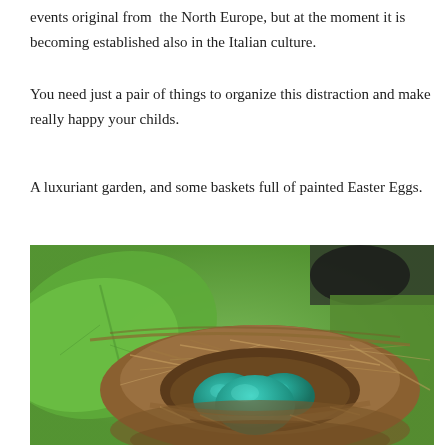events original from the North Europe, but at the moment it is becoming established also in the Italian culture.
You need just a pair of things to organize this distraction and make really happy your childs.
A luxuriant garden, and some baskets full of painted Easter Eggs.
[Figure (photo): A bird's nest containing three teal/turquoise-colored Easter eggs, nestled in dry grass/straw, surrounded by large green leaves in a garden setting.]